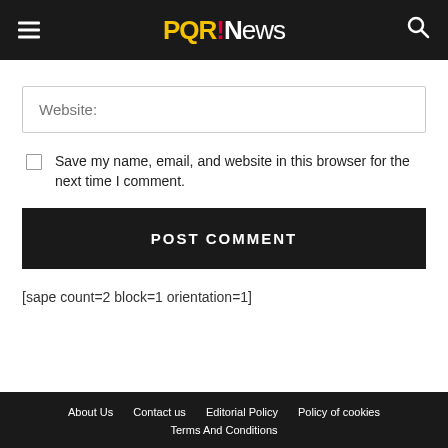PQR!News
Website:
Save my name, email, and website in this browser for the next time I comment.
POST COMMENT
[sape count=2 block=1 orientation=1]
About Us  Contact us  Editorial Policy  Policy of cookies  Terms And Conditions